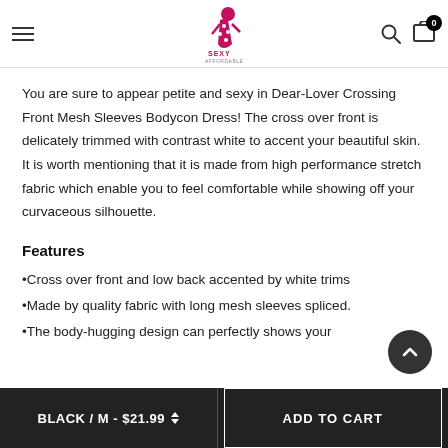Sexy Affordable — navigation header with logo, hamburger menu, search and cart icons
You are sure to appear petite and sexy in Dear-Lover Crossing Front Mesh Sleeves Bodycon Dress! The cross over front is delicately trimmed with contrast white to accent your beautiful skin. It is worth mentioning that it is made from high performance stretch fabric which enable you to feel comfortable while showing off your curvaceous silhouette.
Features
•Cross over front and low back accented by white trims
•Made by quality fabric with long mesh sleeves spliced.
•The body-hugging design can perfectly shows your